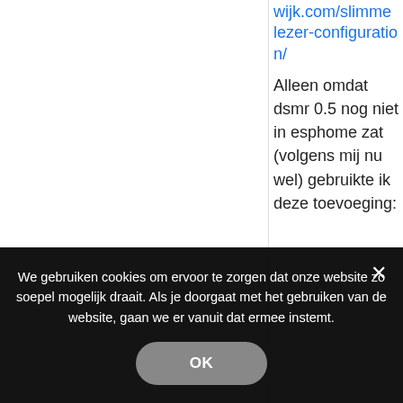wijk.com/slimmelezer-configuration/
Alleen omdat dsmr 0.5 nog niet in esphome zat (volgens mij nu wel) gebruikte ik deze toevoeging:
esphome:
  platformio_opti
  lib...
We gebruiken cookies om ervoor te zorgen dat onze website zo soepel mogelijk draait. Als je doorgaat met het gebruiken van de website, gaan we er vanuit dat ermee instemt.